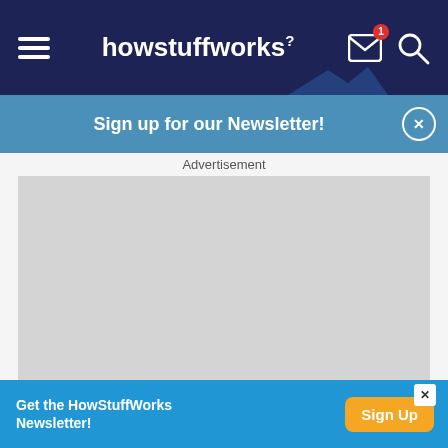howstuffworks
Sign up for our Newsletter!
Advertisement
[Figure (other): Gray advertisement placeholder box]
Now you can see the picture would be aside with ...
Get the HowStuffWorks Newsletter! Sign Up